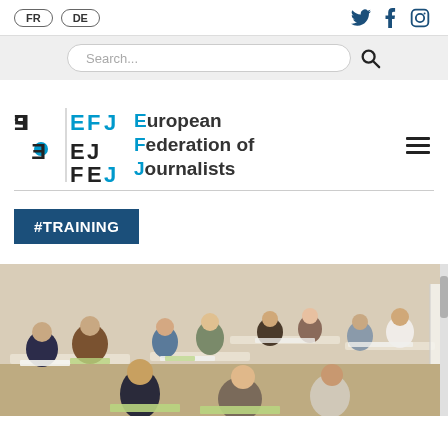FR | DE  [Twitter] [Facebook] [Instagram]
Search...
[Figure (logo): EFJ / FEP logo with text: European Federation of Journalists]
#TRAINING
[Figure (photo): Group of journalists sitting at tables in a training session room, working on papers]